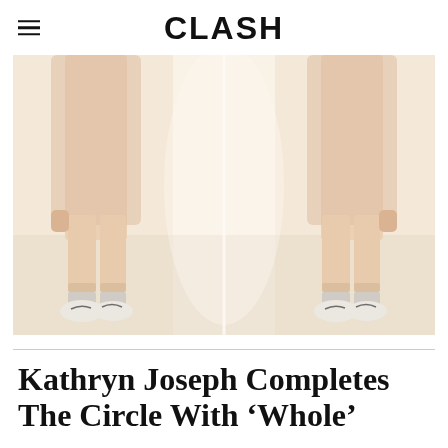CLASH
[Figure (photo): A photo showing the lower body of a person (or mirror reflection creating the illusion of two people) wearing beige/nude coloured wide-leg trousers with cuffed hems, a long cream cardigan coat, grey socks and white Nike sneakers, standing on a light floor — shot in a warm, washed-out film style.]
Kathryn Joseph Completes The Circle With 'Whole'